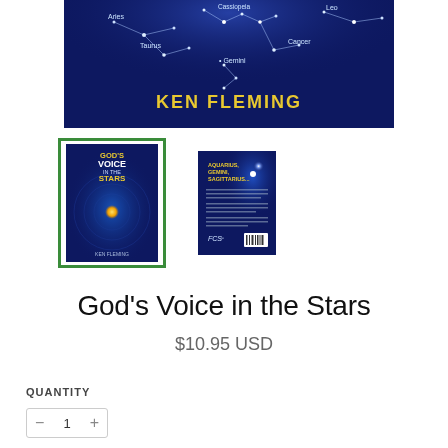[Figure (photo): Book cover banner image for 'God's Voice in the Stars' by Ken Fleming. Dark navy blue background with constellation lines and star names (Aries, Cassiopeia, Leo, Taurus, Cancer, Gemini). Author name 'KEN FLEMING' in large yellow letters at the bottom right.]
[Figure (photo): Thumbnail of front cover of 'God's Voice in the Stars' by Ken Fleming, selected with green border. Dark blue with circular star map and gold/yellow center star.]
[Figure (photo): Thumbnail of back cover of 'God's Voice in the Stars'. Dark blue with text 'Aquarius, Gemini, Sagittarius...' and FCS logo and barcode.]
God's Voice in the Stars
$10.95 USD
QUANTITY